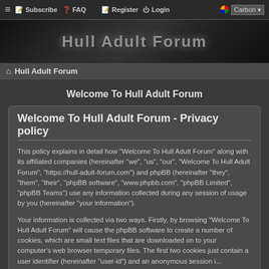≡  Subscribe  ? FAQ  ✎ Register  ⏻ Login  Carbon ▾
[Figure (illustration): Dark banner image with 'Hull Adult Forum' text in grey stylized font on a dark background with silhouetted figures]
⌂  Hull Adult Forum
Welcome To Hull Adult Forum
Welcome To Hull Adult Forum - Privacy policy
This policy explains in detail how "Welcome To Hull Adult Forum" along with its affiliated companies (hereinafter "we", "us", "our", "Welcome To Hull Adult Forum", "https://hull-adult-forum.com") and phpBB (hereinafter "they", "them", "their", "phpBB software", "www.phpbb.com", "phpBB Limited", "phpBB Teams") use any information collected during any session of usage by you (hereinafter "your information").
Your information is collected via two ways. Firstly, by browsing "Welcome To Hull Adult Forum" will cause the phpBB software to create a number of cookies, which are small text files that are downloaded on to your computer's web browser temporary files. The first two cookies just contain a user identifier (hereinafter "user-id") and an anonymous session i... "session-id"), automatically assigned to you by the ... cookie will be created once you have browsed topi... Adult Forum" and is used to store which topics have been read, thereby